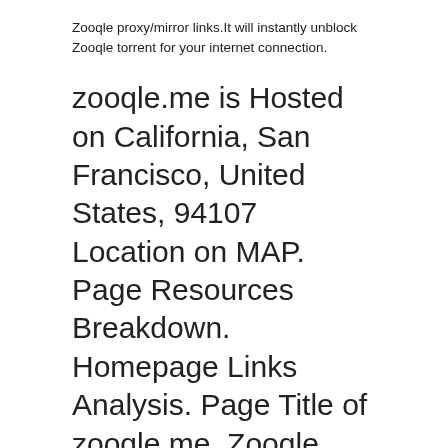Zooqle proxy/mirror links.It will instantly unblock Zooqle torrent for your internet connection.
zooqle.me is Hosted on California, San Francisco, United States, 94107 Location on MAP. Page Resources Breakdown. Homepage Links Analysis. Page Title of zooqle.me. Zooqle Torrent | 1337x . Meta Description of zooqle.me. 1337x is a search engine to find yo
Zooqle Unblock Proxy - The Best Mirror Sites - Google Sites sites.google.com/view/zooqle-proxy These Zooqle proxy and Mirror sites are hosted in countries where Zooqle is not